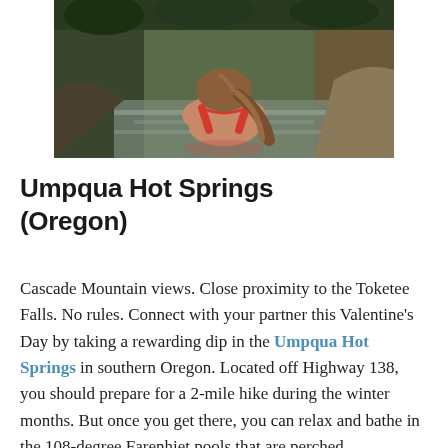[Figure (photo): A woman with long hair in a red swimsuit seen from behind, sitting in a natural hot spring pool surrounded by rocks and greenery.]
Umpqua Hot Springs (Oregon)
Cascade Mountain views. Close proximity to the Toketee Falls. No rules. Connect with your partner this Valentine's Day by taking a rewarding dip in the Umpqua Hot Springs in southern Oregon. Located off Highway 138, you should prepare for a 2-mile hike during the winter months. But once you get there, you can relax and bathe in the 108-degree Farenhiet pools that are perched